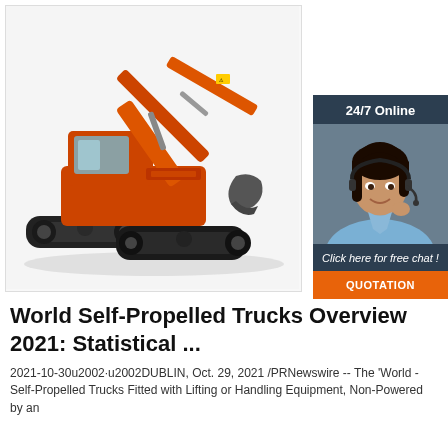[Figure (photo): Orange excavator/construction machinery on white background]
[Figure (infographic): 24/7 Online chat widget with customer service representative photo, 'Click here for free chat!' text, and orange QUOTATION button]
World Self-Propelled Trucks Overview 2021: Statistical ...
2021-10-30u2002·u2002DUBLIN, Oct. 29, 2021 /PRNewswire -- The 'World - Self-Propelled Trucks Fitted with Lifting or Handling Equipment, Non-Powered by an